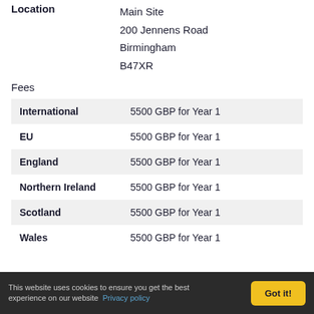Location
Main Site
200 Jennens Road
Birmingham
B47XR
Fees
|  |  |
| --- | --- |
| International | 5500 GBP for Year 1 |
| EU | 5500 GBP for Year 1 |
| England | 5500 GBP for Year 1 |
| Northern Ireland | 5500 GBP for Year 1 |
| Scotland | 5500 GBP for Year 1 |
| Wales | 5500 GBP for Year 1 |
This website uses cookies to ensure you get the best experience on our website  Privacy policy